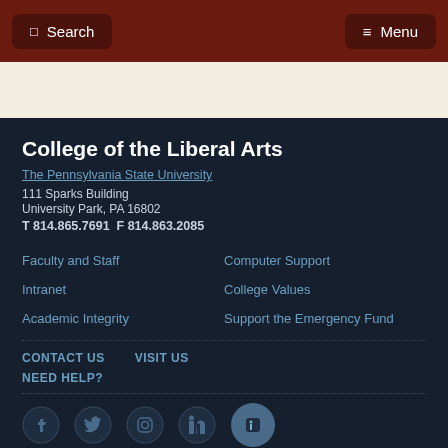Search  Menu
College of the Liberal Arts
The Pennsylvania State University
111 Sparks Building
University Park, PA 16802
T 814.865.7691  F 814.863.2085
Faculty and Staff
Computer Support
Intranet
College Values
Academic Integrity
Support the Emergency Fund
CONTACT US
VISIT US
NEED HELP?
[Figure (other): Social media icon links row - 5 circular icons (Facebook, Twitter, Instagram, LinkedIn, one active/highlighted)]